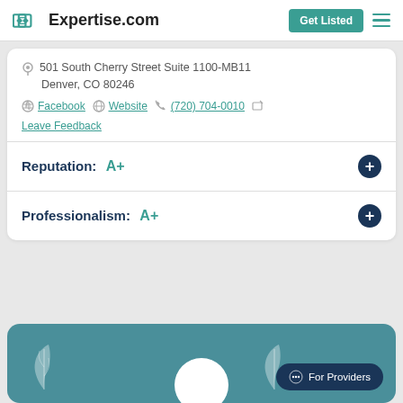Expertise.com | Get Listed
501 South Cherry Street Suite 1100-MB11 Denver, CO 80246
Facebook | Website | (720) 704-0010 | Leave Feedback
Reputation: A+
Professionalism: A+
[Figure (illustration): Teal card at bottom with decorative white circle and leaf shapes, For Providers button]